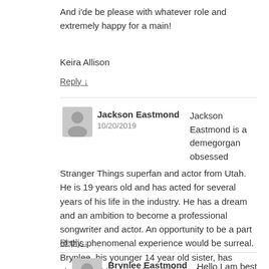And i'de be please with whatever role and extremely happy for a main!
Keira Allison
Reply ↓
Jackson Eastmond  10/20/2019  Jackson Eastmond is a demegorgan obsessed Stranger Things superfan and actor from Utah. He is 19 years old and has acted for several years of his life in the industry. He has a dream and an ambition to become a professional songwriter and actor. An opportunity to be a part of this phenomenal experience would be surreal. Brynlee, his younger 14 year old sister, has similar ambitions and would be a delight as a part of the cast.
Reply ↓
Brynlee Eastmond  Hello I am best friends